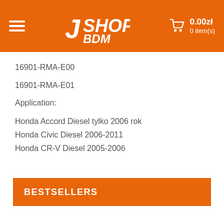JSHOP 0.00zł 0 item(s)
16901-RMA-E00
16901-RMA-E01
Application:
Honda Accord Diesel tylko 2006 rok
Honda Civic Diesel 2006-2011
Honda CR-V Diesel 2005-2006
BESTSELLERS